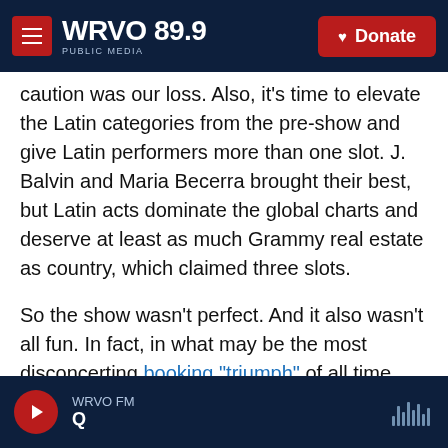WRVO 89.9 PUBLIC MEDIA | Donate
caution was our loss. Also, it's time to elevate the Latin categories from the pre-show and give Latin performers more than one slot. J. Balvin and Maria Becerra brought their best, but Latin acts dominate the global charts and deserve at least as much Grammy real estate as country, which claimed three slots.
So the show wasn't perfect. And it also wasn't all fun. In fact, in what may be the most disconcerting booking "triumph" of all time, the night's buoyant flow was interrupted mid-set by the beamed-in appearance of Ukrainian President Volodymyr
WRVO FM | Q